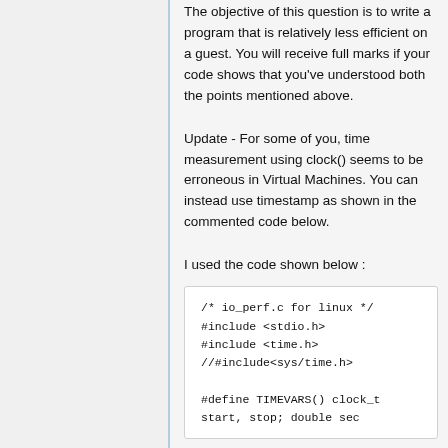The objective of this question is to write a program that is relatively less efficient on a guest. You will receive full marks if your code shows that you've understood both the points mentioned above.
Update - For some of you, time measurement using clock() seems to be erroneous in Virtual Machines. You can instead use timestamp as shown in the commented code below.
I used the code shown below :
/* io_perf.c for linux */
#include <stdio.h>
#include <time.h>
//#include<sys/time.h>

#define TIMEVARS() clock_t start, stop; double sec